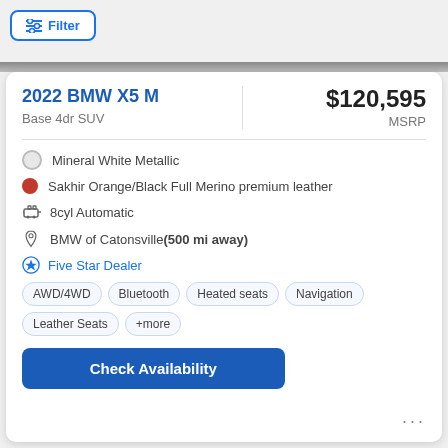Filter
2022 BMW X5 M
Base 4dr SUV
$120,595
MSRP
Mineral White Metallic
Sakhir Orange/Black Full Merino premium leather
8cyl Automatic
BMW of Catonsville (500 mi away)
Five Star Dealer
AWD/4WD   Bluetooth   Heated seats   Navigation   Leather Seats   +more
Check Availability